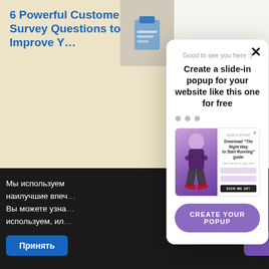[Figure (screenshot): Background webpage showing article about '6 Powerful Customer Survey Questions to Improve Your Business' with a beige/tan card image at top, calendar icon with date 'August 30', article title, and a blue CTA button. Dark cookie consent bar at bottom with Russian text and blue 'Принять' (Accept) button.]
[Figure (screenshot): White slide-in popup modal overlaid on the page. Contains: close X button, greeting 'Good to see you here :)', bold headline 'Create a slide-in popup for your website like this one for free', three gray dots (carousel indicators), a preview screenshot of another popup featuring an athlete image and a form to 'Download The Right Way to Start Running guide', and a purple CTA button 'CREATE YOUR POPUP'.]
Good to see you here :)
Create a slide-in popup for your website like this one for free
Мы используем наилучшие впечатления. Вы можете узна используем, ил
Принять